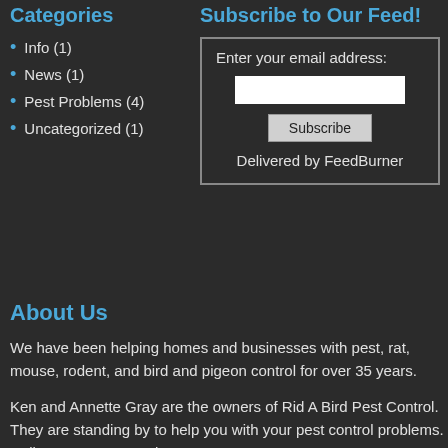Categories
Info (1)
News (1)
Pest Problems (4)
Uncategorized (1)
Subscribe to Our Feed!
Enter your email address:
[input field]
Subscribe
Delivered by FeedBurner
About Us
We have been helping homes and businesses with pest, rat, mouse, rodent, and bird and pigeon control for over 35 years.
Ken and Annette Gray are the owners of Rid A Bird Pest Control. They are standing by to help you with your pest control problems. Call 623-587-0125 today!